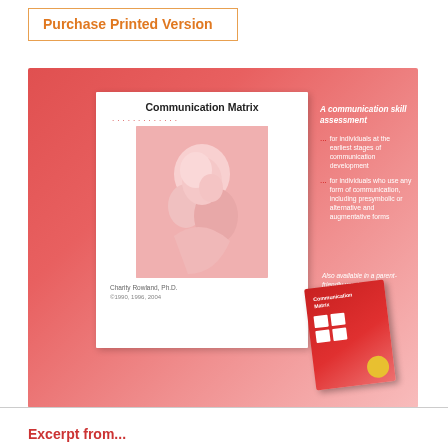Purchase Printed Version
[Figure (illustration): Advertisement for Communication Matrix book by Charity Rowland, Ph.D. Red gradient background with white book cover inset showing title 'Communication Matrix' and mother-child photo. Right side text describes it as 'A communication skill assessment' for individuals at the earliest stages of communication development and for individuals who use any form of communication, including presymbolic or alternative and augmentative forms. Bottom right shows a smaller parent-friendly version of the book.]
Excerpt from...